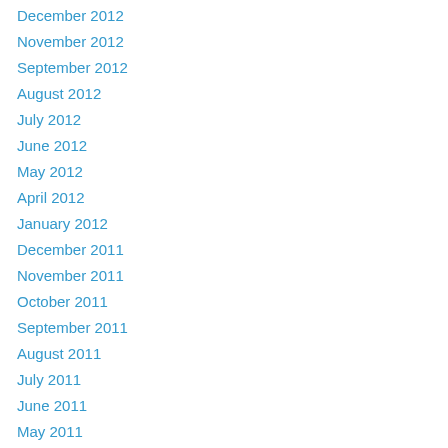December 2012
November 2012
September 2012
August 2012
July 2012
June 2012
May 2012
April 2012
January 2012
December 2011
November 2011
October 2011
September 2011
August 2011
July 2011
June 2011
May 2011
April 2011
March 2011
February 2011